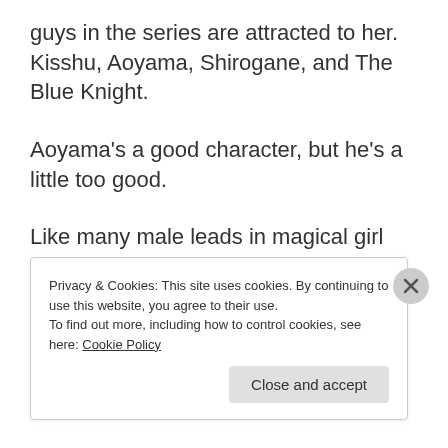guys in the series are attracted to her. Kisshu, Aoyama, Shirogane, and The Blue Knight.
Aoyama's a good character, but he's a little too good.
Like many male leads in magical girl anime, he's seen as perfect by many girls, and he is way too perfect to me. He has no weak points that I ever saw. He's not bad at
Privacy & Cookies: This site uses cookies. By continuing to use this website, you agree to their use.
To find out more, including how to control cookies, see here: Cookie Policy
Close and accept